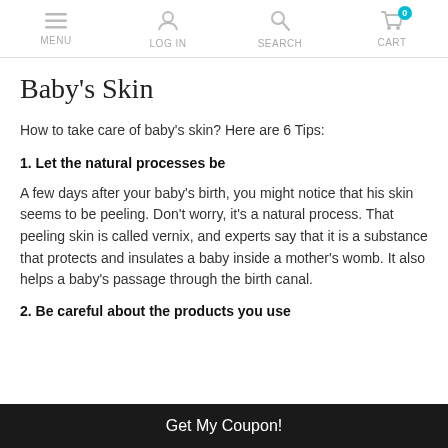MENU | LOG IN | SEARCH | CART (0)
Baby's Skin
How to take care of baby's skin? Here are 6 Tips:
1. Let the natural processes be
A few days after your baby's birth, you might notice that his skin seems to be peeling. Don't worry, it's a natural process. That peeling skin is called vernix, and experts say that it is a substance that protects and insulates a baby inside a mother's womb. It also helps a baby's passage through the birth canal.
2. Be careful about the products you use
Get My Coupon!